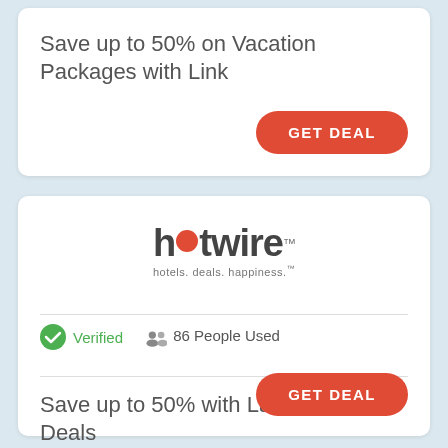Save up to 50% on Vacation Packages with Link
GET DEAL
[Figure (logo): Hotwire logo with red dot replacing the letter 'o', tagline: hotels. deals. happiness.]
Verified   86 People Used
Save up to 50% with Last Minute Deals
GET DEAL